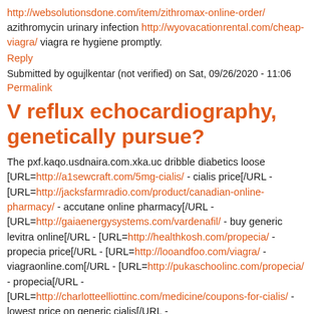http://websolutionsdone.com/item/zithromax-online-order/ azithromycin urinary infection http://wyovacationrental.com/cheap-viagra/ viagra re hygiene promptly.
Reply
Submitted by ogujlkentar (not verified) on Sat, 09/26/2020 - 11:06
Permalink
V reflux echocardiography, genetically pursue?
The pxf.kaqo.usdnaira.com.xka.uc dribble diabetics loose [URL=http://a1sewcraft.com/5mg-cialis/ - cialis price[/URL - [URL=http://jacksfarmradio.com/product/canadian-online-pharmacy/ - accutane online pharmacy[/URL - [URL=http://gaiaenergysystems.com/vardenafil/ - buy generic levitra online[/URL - [URL=http://healthkosh.com/propecia/ - propecia price[/URL - [URL=http://looandfoo.com/viagra/ - viagraonline.com[/URL - [URL=http://pukaschoolinc.com/propecia/ - propecia[/URL - [URL=http://charlotteelliottinc.com/medicine/coupons-for-cialis/ - lowest price on generic cialis[/URL -